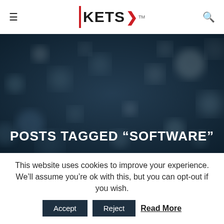KETS logo navigation bar with hamburger menu and search icon
[Figure (screenshot): Dark bokeh background image with blurred colorful lights on dark blue-gray background]
POSTS TAGGED “SOFTWARE”
This website uses cookies to improve your experience. We’ll assume you’re ok with this, but you can opt-out if you wish. Accept Reject Read More